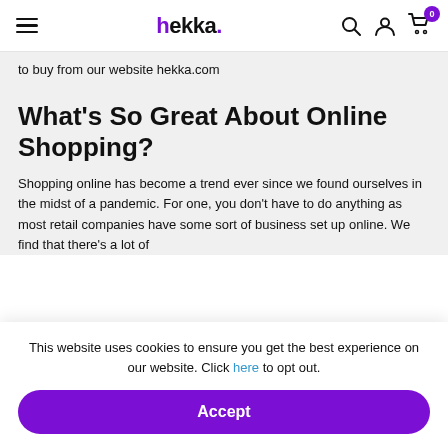hekka. [navigation header with hamburger menu, logo, search, user, cart icons]
to buy from our website hekka.com
What's So Great About Online Shopping?
Shopping online has become a trend ever since we found ourselves in the midst of a pandemic. For one, you don't have to do anything as most retail companies have some sort of business set up online. We find that there's a lot of
This website uses cookies to ensure you get the best experience on our website. Click here to opt out.
Accept